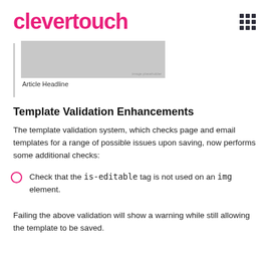[Figure (logo): Clevertouch logo in pink/magenta with a 3x3 grid icon on the right]
[Figure (screenshot): Preview card showing a grey rectangle image placeholder with 'Article Headline' caption below, next to a left border line]
Template Validation Enhancements
The template validation system, which checks page and email templates for a range of possible issues upon saving, now performs some additional checks:
Check that the is-editable tag is not used on an img element.
Failing the above validation will show a warning while still allowing the template to be saved.